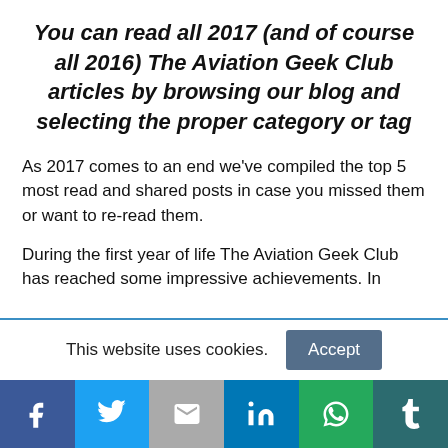You can read all 2017 (and of course all 2016) The Aviation Geek Club articles by browsing our blog and selecting the proper category or tag
As 2017 comes to an end we've compiled the top 5 most read and shared posts in case you missed them or want to re-read them.
During the first year of life The Aviation Geek Club has reached some impressive achievements. In
This website uses cookies.
[Figure (other): Social share bar with icons: Facebook, Twitter, Gmail/Google, LinkedIn, WhatsApp, Tumblr]